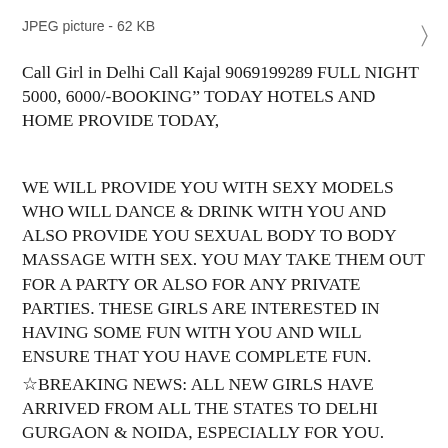JPEG picture - 62 KB
Call Girl in Delhi Call Kajal 9069199289 FULL NIGHT 5000, 6000/-BOOKING” TODAY HOTELS AND HOME PROVIDE TODAY,
WE WILL PROVIDE YOU WITH SEXY MODELS WHO WILL DANCE & DRINK WITH YOU AND ALSO PROVIDE YOU SEXUAL BODY TO BODY MASSAGE WITH SEX. YOU MAY TAKE THEM OUT FOR A PARTY OR ALSO FOR ANY PRIVATE PARTIES. THESE GIRLS ARE INTERESTED IN HAVING SOME FUN WITH YOU AND WILL ENSURE THAT YOU HAVE COMPLETE FUN.
☆BREAKING NEWS: ALL NEW GIRLS HAVE ARRIVED FROM ALL THE STATES TO DELHI GURGAON & NOIDA, ESPECIALLY FOR YOU.